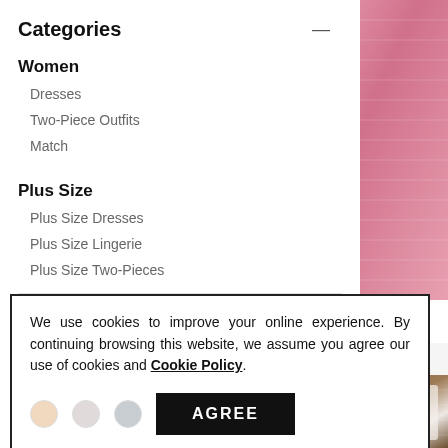Categories —
Women
Dresses
Two-Piece Outfits
Match
Plus Size
Plus Size Dresses
Plus Size Lingerie
Plus Size Two-Pieces
[Figure (photo): Pink ruched long-sleeve dress product image]
SALE Off The Shoul…
US$16.99 RRP US$…
- 62%
[Figure (photo): Brown/chocolate off-shoulder outfit product image]
COLOR
We use cookies to improve your online experience. By continuing browsing this website, we assume you agree our use of cookies and Cookie Policy.
AGREE
Size —